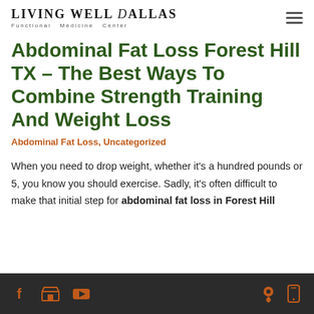LIVING WELL DALLAS – Functional Medicine Center
Abdominal Fat Loss Forest Hill TX – The Best Ways To Combine Strength Training And Weight Loss
Abdominal Fat Loss, Uncategorized
When you need to drop weight, whether it's a hundred pounds or 5, you know you should exercise. Sadly, it's often difficult to make that initial step for abdominal fat loss in Forest Hill
Footer icons: Facebook, Store, YouTube, Location, Mobile